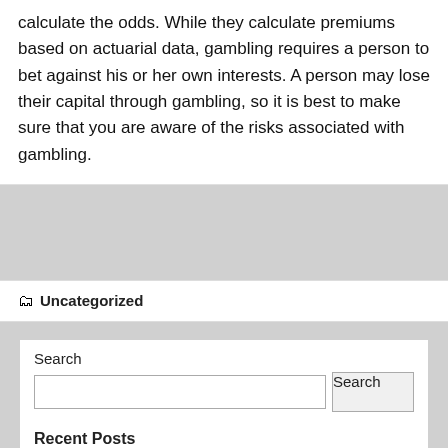calculate the odds. While they calculate premiums based on actuarial data, gambling requires a person to bet against his or her own interests. A person may lose their capital through gambling, so it is best to make sure that you are aware of the risks associated with gambling.
🗂 Uncategorized
Search
Recent Posts
The Basic Rules of the Lottery
Tips and Tricks to Win Big at Online Slots
Online Lottery – Why Playing the Lottery Is More Convenient and Safe Than You Think